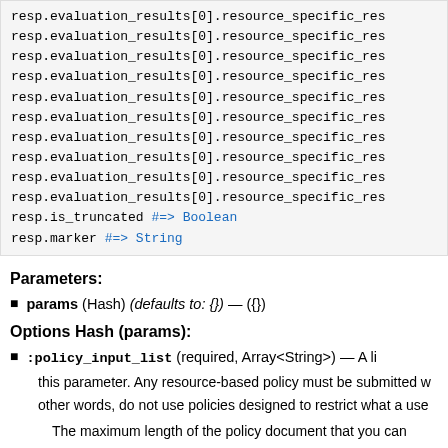[Figure (screenshot): Code block showing resp.evaluation_results[0].resource_specific_res... lines repeated, followed by resp.is_truncated #=> Boolean and resp.marker #=> String]
Parameters:
params (Hash) (defaults to: {}) — ({})
Options Hash (params):
:policy_input_list (required, Array<String>) — A li...
this parameter. Any resource-based policy must be submitted w...
other words, do not use policies designed to restrict what a use...
The maximum length of the policy document that you can pass...
The regex pattern used to validate this parameter is a string...